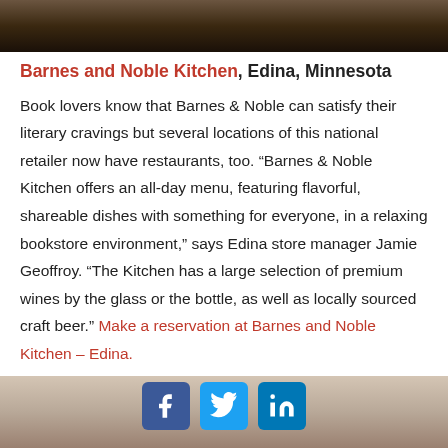[Figure (photo): Dark interior photo of a restaurant or bookstore, dimly lit]
Barnes and Noble Kitchen, Edina, Minnesota
Book lovers know that Barnes & Noble can satisfy their literary cravings but several locations of this national retailer now have restaurants, too. “Barnes & Noble Kitchen offers an all-day menu, featuring flavorful, shareable dishes with something for everyone, in a relaxing bookstore environment,” says Edina store manager Jamie Geoffroy. “The Kitchen has a large selection of premium wines by the glass or the bottle, as well as locally sourced craft beer.” Make a reservation at Barnes and Noble Kitchen – Edina.
[Figure (photo): Bottom photo partially visible with social media icons for Facebook, Twitter, and LinkedIn overlaid]